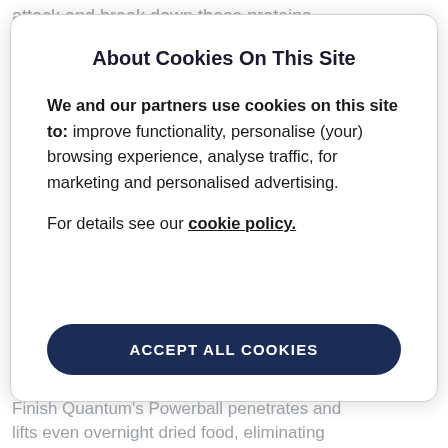attack and break down these proteins.
About Cookies On This Site
We and our partners use cookies on this site to: improve functionality, personalise (your) browsing experience, analyse traffic, for marketing and personalised advertising.
For details see our cookie policy.
ACCEPT ALL COOKIES
Finish Quantum's Powerball penetrates and lifts even overnight dried food, eliminating